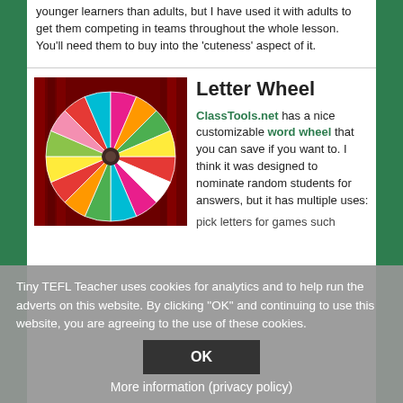younger learners than adults, but I have used it with adults to get them competing in teams throughout the whole lesson. You'll need them to buy into the 'cuteness' aspect of it.
[Figure (photo): A colorful spinning letter wheel with multiple colored segments (red, yellow, green, cyan, magenta, orange, pink, white) on a dark red curtain background, with letters on each segment.]
Letter Wheel
ClassTools.net has a nice customizable word wheel that you can save if you want to. I think it was designed to nominate random students for answers, but it has multiple uses:
pick letters for games such
Tiny TEFL Teacher uses cookies for analytics and to help run the adverts on this website. By clicking "OK" and continuing to use this website, you are agreeing to the use of these cookies.
OK
More information (privacy policy)